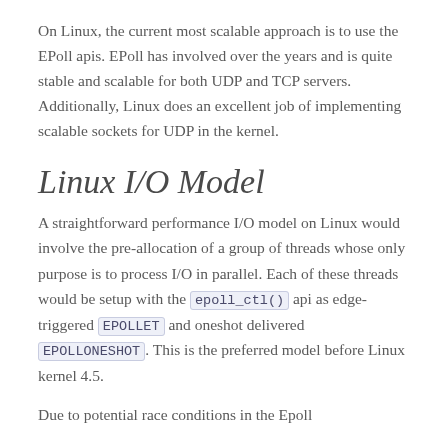On Linux, the current most scalable approach is to use the EPoll apis.  EPoll has involved over the years and is quite stable and scalable for both UDP and TCP servers.  Additionally, Linux does an excellent job of implementing scalable sockets for UDP in the kernel.
Linux I/O Model
A straightforward performance I/O model on Linux would involve the pre-allocation of a group of threads whose only purpose is to process I/O in parallel.  Each of these threads would be setup with the epoll_ctl() api as edge-triggered EPOLLET and oneshot delivered EPOLLONESHOT.  This is the preferred model before Linux kernel 4.5.
Due to potential race conditions in the Epoll